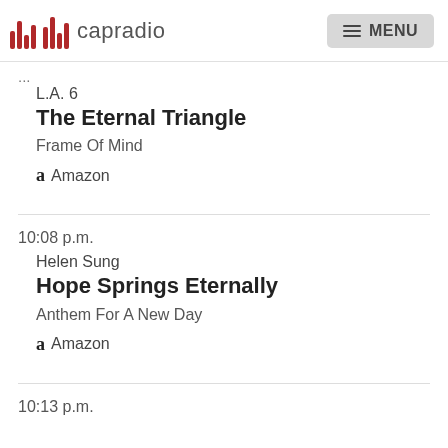capradio  MENU
L.A. 6
The Eternal Triangle
Frame Of Mind
Amazon
10:08 p.m.
Helen Sung
Hope Springs Eternally
Anthem For A New Day
Amazon
10:13 p.m.